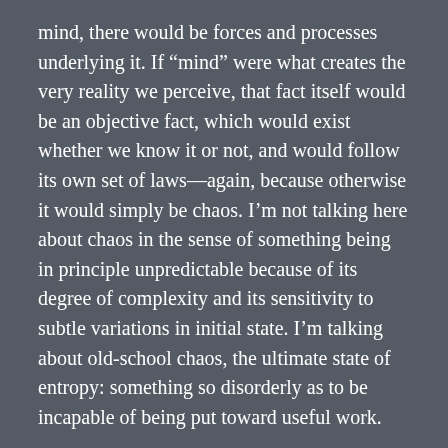mind, there would be forces and processes underlying it.  If “mind” were what creates the very reality we perceive, that fact itself would be an objective fact, which would exist whether we know it or not, and would follow its own set of laws—again, because otherwise it would simply be chaos.  I’m not talking here about chaos in the sense of something being in principle unpredictable because of its degree of complexity and its sensitivity to subtle variations in initial state.  I’m talking about old-school chaos, the ultimate state of entropy:  something so disorderly as to be incapable of being put toward useful work.
Even if there were a creator god, an